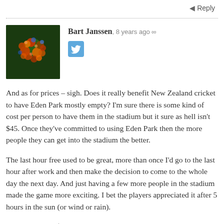Reply
[Figure (photo): Avatar image of Bart Janssen showing colorful spheres on dark green background]
Bart Janssen, 8 years ago ∞
[Figure (logo): Twitter bird logo icon in blue rounded square]
And as for prices – sigh. Does it really benefit New Zealand cricket to have Eden Park mostly empty? I'm sure there is some kind of cost per person to have them in the stadium but it sure as hell isn't $45. Once they've committed to using Eden Park then the more people they can get into the stadium the better.
The last hour free used to be great, more than once I'd go to the last hour after work and then make the decision to come to the whole day the next day. And just having a few more people in the stadium made the game more exciting. I bet the players appreciated it after 5 hours in the sun (or wind or rain).
Why not have a $5 day and see how many come along? Why not let schoolkids in for a gold coin?